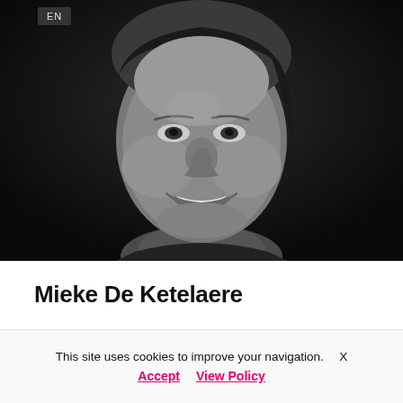[Figure (photo): Black and white portrait photo of a smiling woman (Mieke De Ketelaere) with short hair, dark background. An 'EN' language badge appears in the upper left corner of the photo.]
Mieke De Ketelaere
Director AI Program IMEC-IDLab @IMEC
This site uses cookies to improve your navigation.  X
Accept   View Policy